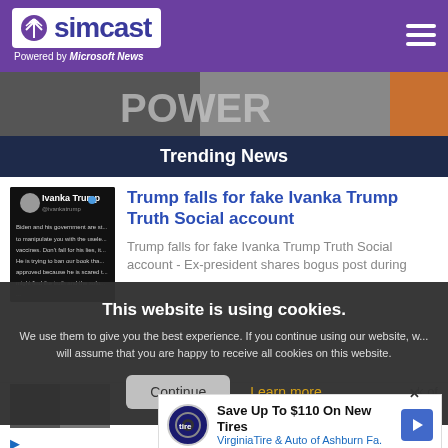[Figure (logo): Simcast logo with tower icon, 'Powered by Microsoft News' subtitle, purple background header with hamburger menu]
[Figure (photo): Partial hero image with dark tones and orange element on right]
Trending News
[Figure (screenshot): Thumbnail showing a dark-mode social media post attributed to Ivanka Trump]
Trump falls for fake Ivanka Trump Truth Social account
Trump falls for fake Ivanka Trump Truth Social account - Ex-president shares bogus post during
This website is using cookies. We use them to give you the best experience. If you continue using our website, we will assume that you are happy to receive all cookies on this website.
Continue
Learn more
[Figure (infographic): Ad banner: Save Up To $110 On New Tires - Virginia Tire & Auto of Ashburn Fa.]